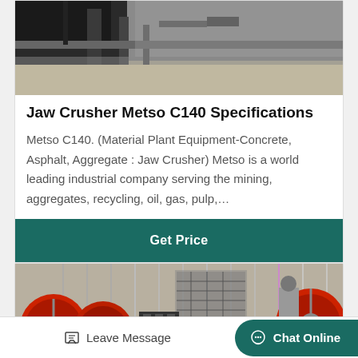[Figure (photo): Partial view of a jaw crusher or heavy industrial machine, top portion visible, outdoor/industrial setting]
Jaw Crusher Metso C140 Specifications
Metso C140. (Material Plant Equipment-Concrete, Asphalt, Aggregate : Jaw Crusher) Metso is a world leading industrial company serving the mining, aggregates, recycling, oil, gas, pulp,…
Get Price
[Figure (photo): Industrial jaw crushers with large red and yellow flywheels inside a factory/warehouse setting. Chinese text visible on machine body.]
Leave Message   Chat Online